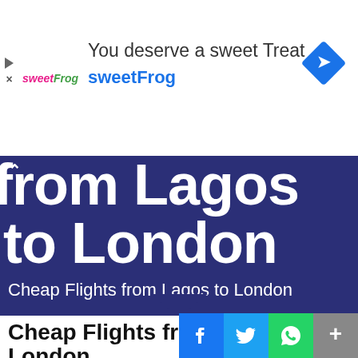[Figure (screenshot): SweetFrog advertisement banner with logo, text 'You deserve a sweet Treat', 'sweetFrog' in blue, and a blue diamond navigation icon]
from Lagos to London
Cheap Flights from Lagos to London
Cheap Flights from Lagos to London